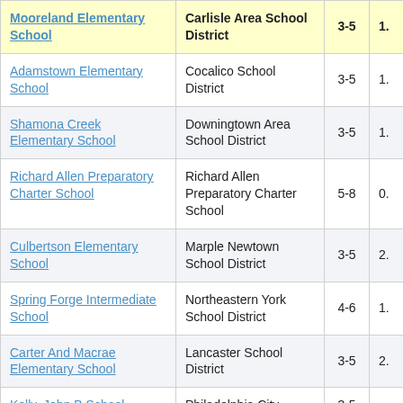| School Name | District | Grades | Value |
| --- | --- | --- | --- |
| Mooreland Elementary School | Carlisle Area School District | 3-5 | 1. |
| Adamstown Elementary School | Cocalico School District | 3-5 | 1. |
| Shamona Creek Elementary School | Downingtown Area School District | 3-5 | 1. |
| Richard Allen Preparatory Charter School | Richard Allen Preparatory Charter School | 5-8 | 0. |
| Culbertson Elementary School | Marple Newtown School District | 3-5 | 2. |
| Spring Forge Intermediate School | Northeastern York School District | 4-6 | 1. |
| Carter And Macrae Elementary School | Lancaster School District | 3-5 | 2. |
| Kelly, John B School | Philadelphia City | 3-5 |  |